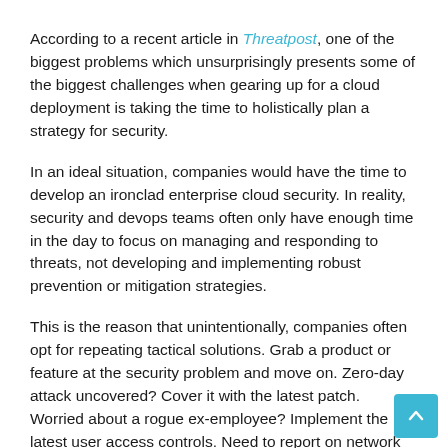According to a recent article in Threatpost, one of the biggest problems which unsurprisingly presents some of the biggest challenges when gearing up for a cloud deployment is taking the time to holistically plan a strategy for security.
In an ideal situation, companies would have the time to develop an ironclad enterprise cloud security. In reality, security and devops teams often only have enough time in the day to focus on managing and responding to threats, not developing and implementing robust prevention or mitigation strategies.
This is the reason that unintentionally, companies often opt for repeating tactical solutions. Grab a product or feature at the security problem and move on. Zero-day attack uncovered? Cover it with the latest patch. Worried about a rogue ex-employee? Implement the latest user access controls. Need to report on network activity? Build